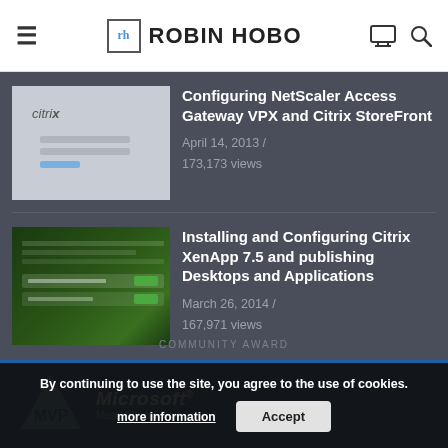ROBIN HOBO
[Figure (screenshot): Thumbnail of Citrix login page with citrix logo and form fields on grey background]
Configuring NetScaler Access Gateway VPX and Citrix StoreFront
April 14, 2013 / 173,173 views
[Figure (screenshot): Thumbnail of dark green Citrix XenApp installation/configuration screen]
Installing and Configuring Citrix XenApp 7.5 and publishing Desktops and Applications
March 26, 2014 / 167,971 views
By continuing to use the site, you agree to the use of cookies.
more information
Accept